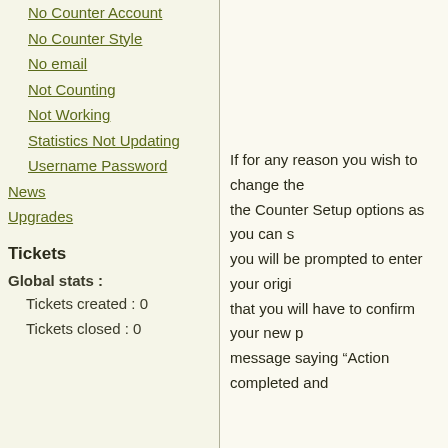No Counter Account
No Counter Style
No email
Not Counting
Not Working
Statistics Not Updating
Username Password
News
Upgrades
Tickets
Global stats :
Tickets created : 0
Tickets closed : 0
If for any reason you wish to change the Counter Setup options as you can s you will be prompted to enter your origi that you will have to confirm your new p message saying "Action completed and